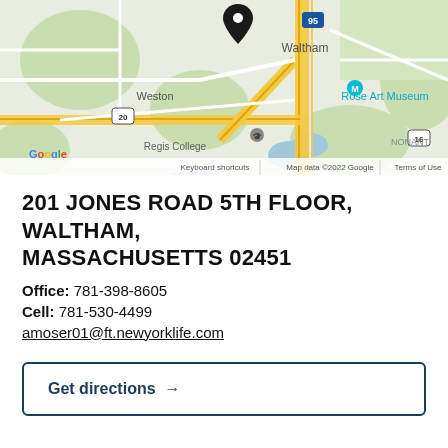[Figure (map): Google Maps screenshot showing the area around 201 Jones Road, Waltham, Massachusetts. Visible landmarks include Weston, Regis College, Rose Art Museum, and the Waltham area. A location pin marks the office. Map data ©2022 Google. Shows Route 95, Route 20, Route 16 roads.]
201 JONES ROAD 5TH FLOOR, WALTHAM, MASSACHUSETTS 02451
Office: 781-398-8605
Cell: 781-530-4499
amoser01@ft.newyorklife.com
Get directions →